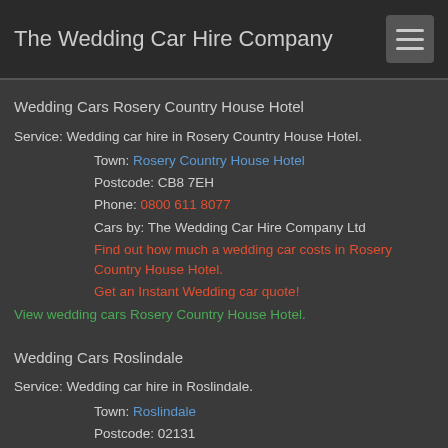The Wedding Car Hire Company
Wedding Cars Rosery Country House Hotel
Service: Wedding car hire in Rosery Country House Hotel.
Town: Rosery Country House Hotel
Postcode: CB8 7EH
Phone: 0800 611 8077
Cars by: The Wedding Car Hire Company Ltd
Find out how much a wedding car costs in Rosery Country House Hotel.
Get an Instant Wedding car quote!
View wedding cars Rosery Country House Hotel.
Wedding Cars Roslindale
Service: Wedding car hire in Roslindale.
Town: Roslindale
Postcode: 02131
Phone: 0800 611 8077
Cars by: The Wedding Car Hire Company Ltd
Find out how much a wedding car costs in Roslindale.